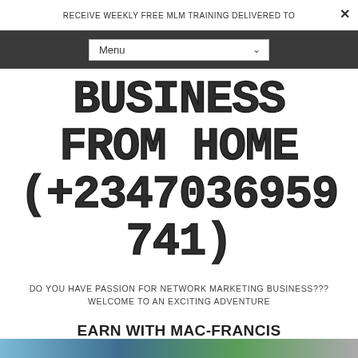RECEIVE WEEKLY FREE MLM TRAINING DELIVERED TO
BUSINESS FROM HOME (+2347036959741)
DO YOU HAVE PASSION FOR NETWORK MARKETING BUSINESS??? WELCOME TO AN EXCITING ADVENTURE
EARN WITH MAC-FRANCIS